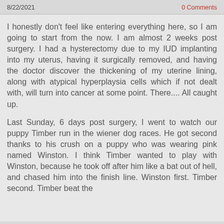8/22/2021    0 Comments
I honestly don't feel like entering everything here, so I am going to start from the now. I am almost 2 weeks post surgery. I had a hysterectomy due to my IUD implanting into my uterus, having it surgically removed, and having the doctor discover the thickening of my uterine lining, along with atypical hyperplaysia cells which if not dealt with, will turn into cancer at some point. There.... All caught up.
Last Sunday, 6 days post surgery, I went to watch our puppy Timber run in the wiener dog races. He got second thanks to his crush on a puppy who was wearing pink named Winston. I think Timber wanted to play with Winston, because he took off after him like a bat out of hell, and chased him into the finish line. Winston first. Timber second. Timber beat the